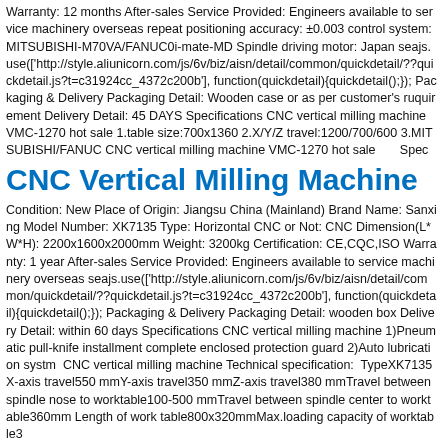Warranty: 12 months After-sales Service Provided: Engineers available to service machinery overseas repeat positioning accuracy: ±0.003 control system: MITSUBISHI-M70VA/FANUC0i-mate-MD Spindle driving motor: Japan seajs.use(['http://style.aliunicorn.com/js/6v/biz/aisn/detail/common/quickdetail/??quickdetail.js?t=c31924cc_4372c200b'], function(quickdetail){quickdetail();}); Packaging & Delivery Packaging Detail: Wooden case or as per customer's ruquirement Delivery Detail: 45 DAYS Specifications CNC vertical milling machine VMC-1270 hot sale 1.table size:700x1360 2.X/Y/Z travel:1200/700/600 3.MITSUBISHI/FANUC CNC vertical milling machine VMC-1270 hot sale    Spec
CNC Vertical Milling Machine
Condition: New Place of Origin: Jiangsu China (Mainland) Brand Name: Sanxing Model Number: XK7135 Type: Horizontal CNC or Not: CNC Dimension(L*W*H): 2200x1600x2000mm Weight: 3200kg Certification: CE,CQC,ISO Warranty: 1 year After-sales Service Provided: Engineers available to service machinery overseas seajs.use(['http://style.aliunicorn.com/js/6v/biz/aisn/detail/common/quickdetail/??quickdetail.js?t=c31924cc_4372c200b'], function(quickdetail){quickdetail();}); Packaging & Delivery Packaging Detail: wooden box Delivery Detail: within 60 days Specifications CNC vertical milling machine 1)Pneumatic pull-knife installment complete enclosed protection guard 2)Auto lubrication systm  CNC vertical milling machine Technical specification:  TypeXK7135 X-axis travel550 mmY-axis travel350 mmZ-axis travel380 mmTravel between spindle nose to worktable100-500 mmTravel between spindle center to worktable360mm Length of work table800x320mmMax.loading capacity of worktable3
VK1060 5 Axis Vertical Milling